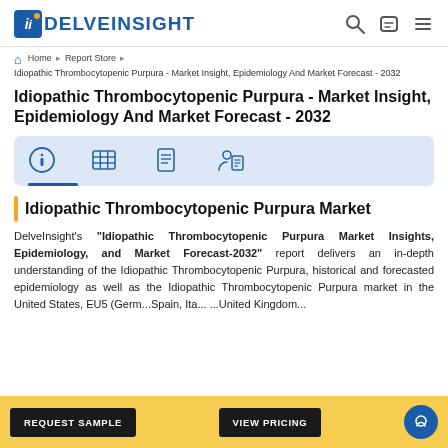DelveInsight
Home > Report Store > Idiopathic Thrombocytopenic Purpura - Market Insight, Epidemiology And Market Forecast - 2032
Idiopathic Thrombocytopenic Purpura - Market Insight, Epidemiology And Market Forecast - 2032
[Figure (other): Navigation tab icons: info, table, list/report, person-with-document]
Idiopathic Thrombocytopenic Purpura Market
DelveInsight's "Idiopathic Thrombocytopenic Purpura Market Insights, Epidemiology, and Market Forecast-2032" report delivers an in-depth understanding of the Idiopathic Thrombocytopenic Purpura, historical and forecasted epidemiology as well as the Idiopathic Thrombocytopenic Purpura market in the United States, EU5 (Germany, Spain, Italy, France, United Kingdom,